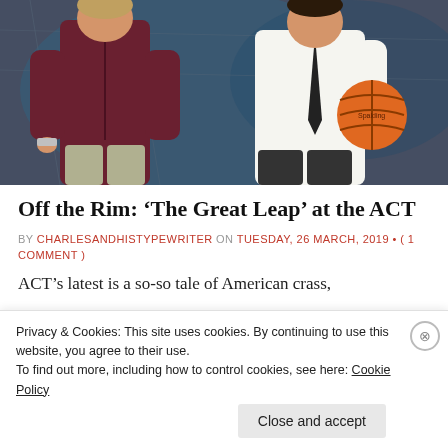[Figure (photo): Two actors on stage: a person in a dark maroon hoodie on the left, and a person in a white dress shirt with a black tie holding a basketball on the right. Dark chain-link fence backdrop with blue-green lighting.]
Off the Rim: ‘The Great Leap’ at the ACT
BY CHARLESANDHISTYPEWRITER ON TUESDAY, 26 MARCH, 2019 • ( 1 COMMENT )
ACT’s latest is a so-so tale of American crass,
Privacy & Cookies: This site uses cookies. By continuing to use this website, you agree to their use.
To find out more, including how to control cookies, see here: Cookie Policy
Close and accept